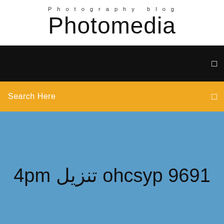Photography blog
Photomedia
[Figure (screenshot): Black navigation bar with a small icon on the right]
Search Here
1969 pyscho تنزيل mp4